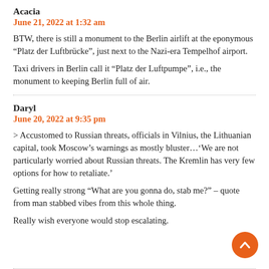Acacia
June 21, 2022 at 1:32 am
BTW, there is still a monument to the Berlin airlift at the eponymous “Platz der Luftbrücke”, just next to the Nazi-era Tempelhof airport.
Taxi drivers in Berlin call it “Platz der Luftpumpe”, i.e., the monument to keeping Berlin full of air.
Daryl
June 20, 2022 at 9:35 pm
> Accustomed to Russian threats, officials in Vilnius, the Lithuanian capital, took Moscow’s warnings as mostly bluster…‘We are not particularly worried about Russian threats. The Kremlin has very few options for how to retaliate.’
Getting really strong “What are you gonna do, stab me?” – quote from man stabbed vibes from this whole thing.
Really wish everyone would stop escalating.